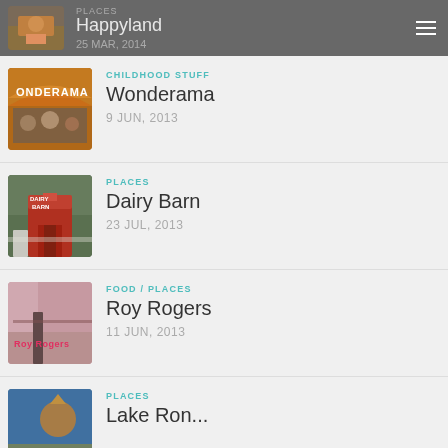PLACES — Happyland — 25 MAR, 2014
CHILDHOOD STUFF
Wonderama
9 JUN, 2013
PLACES
Dairy Barn
23 JUL, 2013
FOOD / PLACES
Roy Rogers
11 JUN, 2013
PLACES
Lake Ronkonkoma (partial)